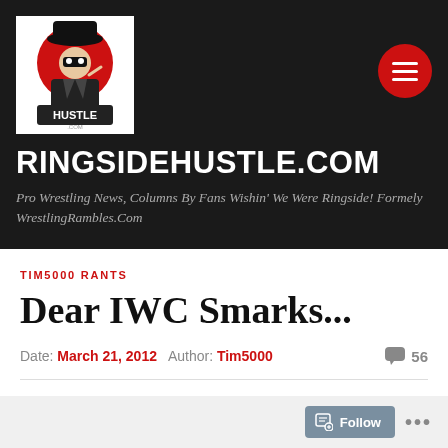[Figure (logo): Ringside Hustle logo — mascot figure in hat with 'HUSTLE' text on white background]
RINGSIDEHUSTLE.COM
Pro Wrestling News, Columns By Fans Wishin' We Were Ringside! Formely WrestlingRambles.Com
TIM5000 RANTS
Dear IWC Smarks...
Date: March 21, 2012  Author: Tim5000  56